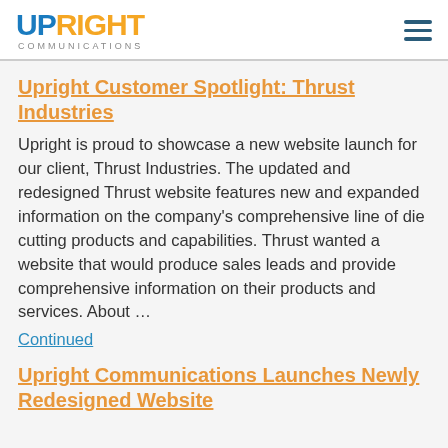UPRIGHT COMMUNICATIONS [logo] [hamburger menu]
Upright Customer Spotlight: Thrust Industries
Upright is proud to showcase a new website launch for our client, Thrust Industries. The updated and redesigned Thrust website features new and expanded information on the company's comprehensive line of die cutting products and capabilities. Thrust wanted a website that would produce sales leads and provide comprehensive information on their products and services. About …
Continued
Upright Communications Launches Newly Redesigned Website